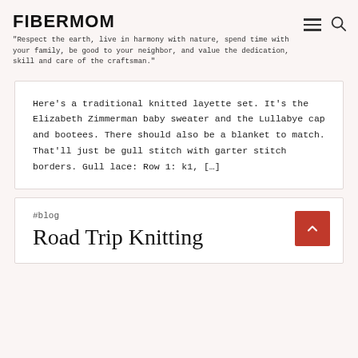FIBERMOM
"Respect the earth, live in harmony with nature, spend time with your family, be good to your neighbor, and value the dedication, skill and care of the craftsman."
Here’s a traditional knitted layette set. It’s the Elizabeth Zimmerman baby sweater and the Lullabye cap and bootees. There should also be a blanket to match. That’ll just be gull stitch with garter stitch borders. Gull lace: Row 1: k1, […]
#blog
Road Trip Knitting